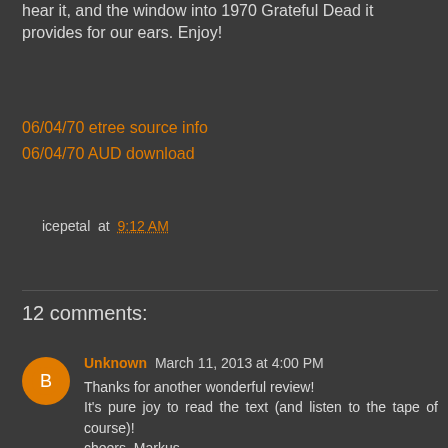hear it, and the window into 1970 Grateful Dead it provides for our ears. Enjoy!
06/04/70 etree source info
06/04/70 AUD download
icepetal at 9:12 AM
Share
12 comments:
Unknown  March 11, 2013 at 4:00 PM
Thanks for another wonderful review!
It's pure joy to read the text (and listen to the tape of course)!
cheers, Markus
Reply